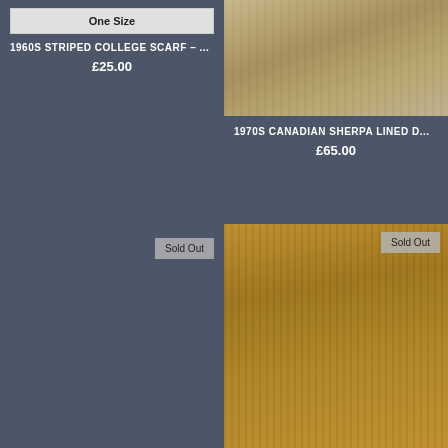[Figure (screenshot): Product listing showing 'One Size' badge with grey background, top-left cell]
One Size
1960S STRIPED COLLEGE SCARF – ...
£25.00
[Figure (photo): 1970s Canadian Sherpa Lined jacket photo, olive/tan military style jacket on white background]
1970S CANADIAN SHERPA LINED D...
£65.00
Sold Out
[Figure (photo): 1970s corduroy belted jacket in golden/mustard color on mannequin, sold out]
Sold Out